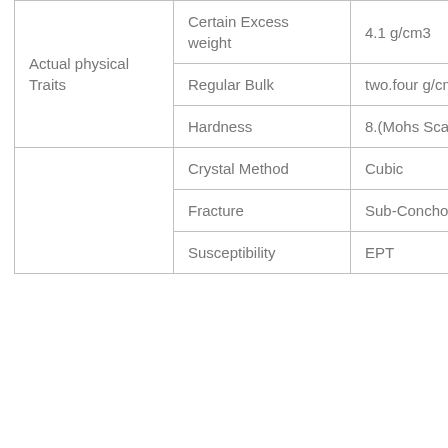| Actual physical Traits | Certain Excess weight | 4.1 g/cm3 |
| Actual physical Traits | Regular Bulk | two.four g/cm3 |
| Actual physical Traits | Hardness | 8.(Mohs Scale) |
|  | Crystal Method | Cubic |
|  | Fracture | Sub-Conchoidal |
|  | Susceptibility | EPT |